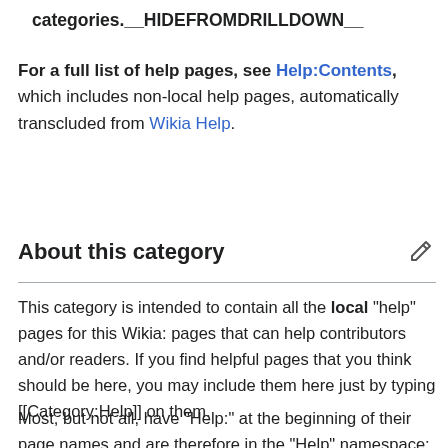categories.__HIDEFROMDRILLDOWN__
For a full list of help pages, see Help:Contents, which includes non-local help pages, automatically transcluded from Wikia Help.
About this category
This category is intended to contain all the local "help" pages for this Wikia: pages that can help contributors and/or readers. If you find helpful pages that you think should be here, you may include them here just by typing [[Category:Help]] on them.
Most, but not all, have "Help:" at the beginning of their page names and are therefore in the "Help" namespace; an automatically-generated list of those can be found at Special:AllPages...